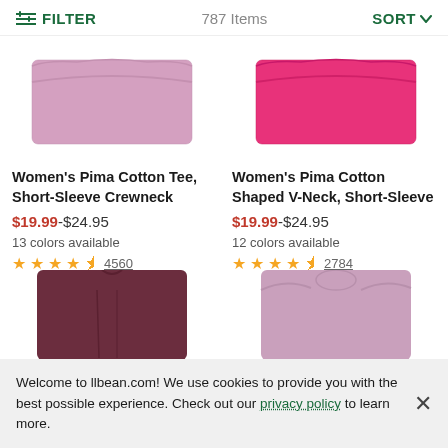FILTER  787 Items  SORT
[Figure (photo): Light pink/mauve folded t-shirt product image]
[Figure (photo): Hot pink folded t-shirt product image]
Women's Pima Cotton Tee, Short-Sleeve Crewneck
$19.99-$24.95
13 colors available
★★★★½ 4560
Women's Pima Cotton Shaped V-Neck, Short-Sleeve
$19.99-$24.95
12 colors available
★★★★½ 2784
[Figure (photo): Dark maroon/burgundy shorts product image (partial)]
[Figure (photo): Light mauve/pink sleeveless top product image (partial)]
Welcome to llbean.com! We use cookies to provide you with the best possible experience. Check out our privacy policy to learn more.